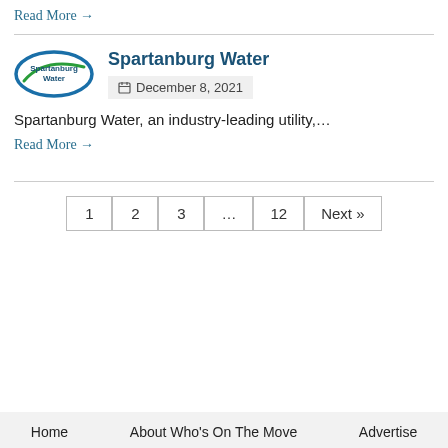Read More →
[Figure (logo): Spartanburg Water logo — blue and green ellipses with company name]
Spartanburg Water
December 8, 2021
Spartanburg Water, an industry-leading utility,…
Read More →
1  2  3  …  12  Next »
Home   About Who's On The Move   Advertise